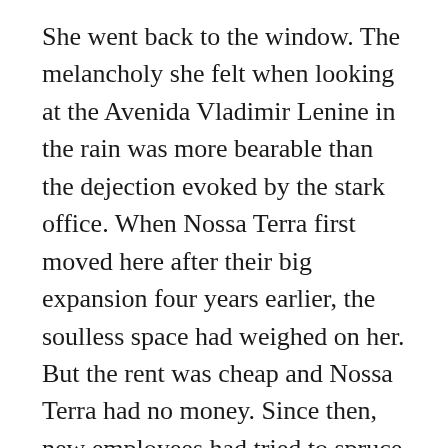She went back to the window. The melancholy she felt when looking at the Avenida Vladimir Lenine in the rain was more bearable than the dejection evoked by the stark office. When Nossa Terra first moved here after their big expansion four years earlier, the soulless space had weighed on her. But the rent was cheap and Nossa Terra had no money. Since then, new employees had tried to spruce it up. They affixed posters to the walls and brought in all sorts of plants. In the end, they all surrendered to the futility of the makeover, giving in to the cement walls, impervious to any improvement.
Before the move, Nossa Terra had been a scrappy community organization fighting for